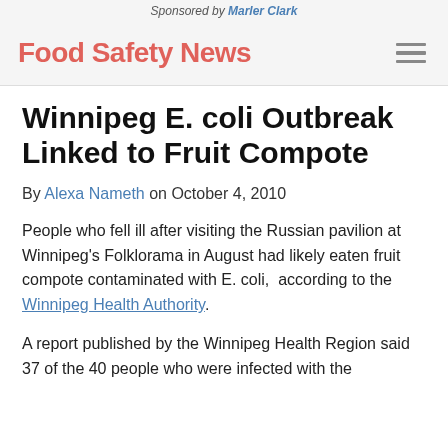Sponsored by Marler Clark
Food Safety News
Winnipeg E. coli Outbreak Linked to Fruit Compote
By Alexa Nameth on October 4, 2010
People who fell ill after visiting the Russian pavilion at Winnipeg's Folklorama in August had likely eaten fruit compote contaminated with E. coli,  according to the Winnipeg Health Authority.
A report published by the Winnipeg Health Region said 37 of the 40 people who were infected with the